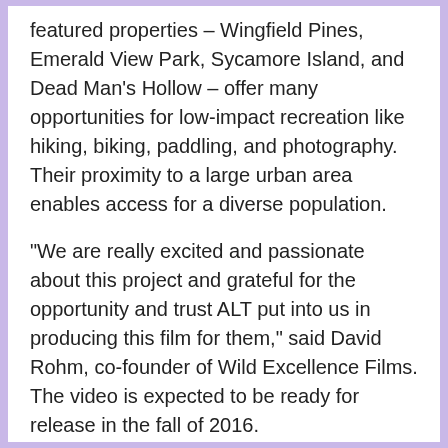featured properties – Wingfield Pines, Emerald View Park, Sycamore Island, and Dead Man's Hollow – offer many opportunities for low-impact recreation like hiking, biking, paddling, and photography. Their proximity to a large urban area enables access for a diverse population.
“We are really excited and passionate about this project and grateful for the opportunity and trust ALT put into us in producing this film for them,” said David Rohm, co-founder of Wild Excellence Films. The video is expected to be ready for release in the fall of 2016.
Allegheny Land Trust helps local people save local land that contributes to the scenic, recreational, educational and